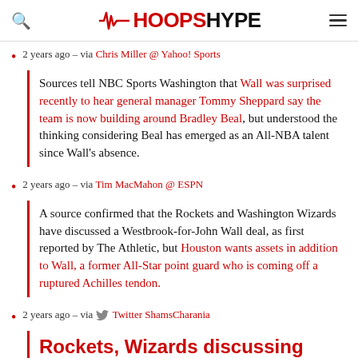HOOPSHYPE
2 years ago – via Chris Miller @ Yahoo! Sports
Sources tell NBC Sports Washington that Wall was surprised recently to hear general manager Tommy Sheppard say the team is now building around Bradley Beal, but understood the thinking considering Beal has emerged as an All-NBA talent since Wall's absence.
2 years ago – via Tim MacMahon @ ESPN
A source confirmed that the Rockets and Washington Wizards have discussed a Westbrook-for-John Wall deal, as first reported by The Athletic, but Houston wants assets in addition to Wall, a former All-Star point guard who is coming off a ruptured Achilles tendon.
2 years ago – via Twitter ShamsCharania
Rockets, Wizards discussing Westbrook-Wall swap